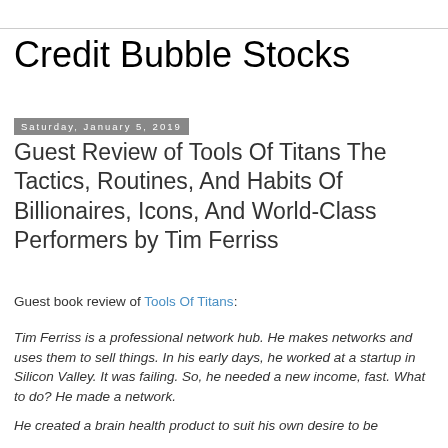Credit Bubble Stocks
Saturday, January 5, 2019
Guest Review of Tools Of Titans The Tactics, Routines, And Habits Of Billionaires, Icons, And World-Class Performers by Tim Ferriss
Guest book review of Tools Of Titans:
Tim Ferriss is a professional network hub. He makes networks and uses them to sell things. In his early days, he worked at a startup in Silicon Valley. It was failing. So, he needed a new income, fast. What to do? He made a network.
He created a brain health product to suit his own desire to be...